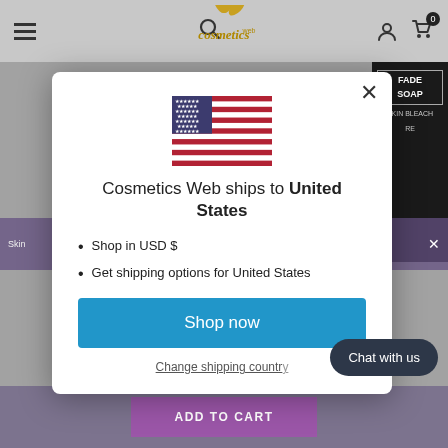[Figure (screenshot): Website screenshot of Cosmetics Web e-commerce site with a modal popup indicating shipping to United States]
cosmetics web
Cosmetics Web ships to United States
Shop in USD $
Get shipping options for United States
Shop now
Change shipping country
Chat with us
ADD TO CART